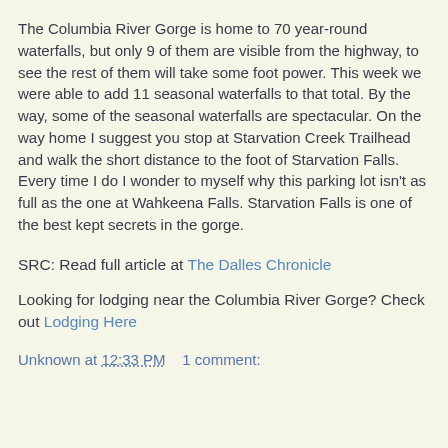The Columbia River Gorge is home to 70 year-round waterfalls, but only 9 of them are visible from the highway, to see the rest of them will take some foot power. This week we were able to add 11 seasonal waterfalls to that total. By the way, some of the seasonal waterfalls are spectacular. On the way home I suggest you stop at Starvation Creek Trailhead and walk the short distance to the foot of Starvation Falls. Every time I do I wonder to myself why this parking lot isn't as full as the one at Wahkeena Falls. Starvation Falls is one of the best kept secrets in the gorge.
SRC: Read full article at The Dalles Chronicle
Looking for lodging near the Columbia River Gorge? Check out Lodging Here
Unknown at 12:33 PM    1 comment: